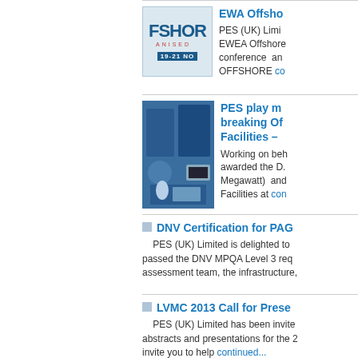[Figure (logo): EWA Offshore conference logo showing partial text 'FSHOR', 'ANISED', '19-21 NO' on a blue/grey background]
EWA Offshore
PES (UK) Limited EWEA Offshore conference and OFFSHORE continued...
[Figure (photo): Industrial machinery photo showing large blue equipment with workers and a monitor screen]
PES play m breaking Of Facilities –
Working on behalf awarded the D. Megawatt) and Facilities at continued...
DNV Certification for PAG
PES (UK) Limited is delighted to passed the DNV MPQA Level 3 req assessment team, the infrastructure,
LVMC 2013 Call for Prese
PES (UK) Limited has been invite abstracts and presentations for the 2 invite you to help continued...